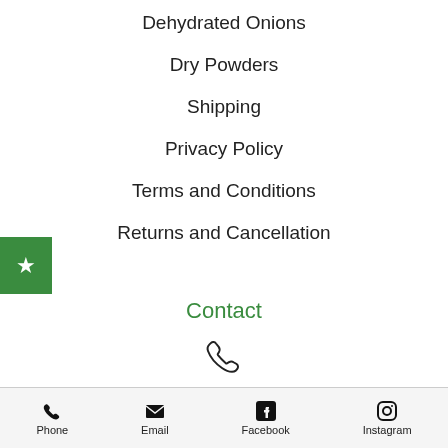Dehydrated Onions
Dry Powders
Shipping
Privacy Policy
Terms and Conditions
Returns and Cancellation
Contact
[Figure (illustration): Phone/call icon (outline style)]
[Figure (illustration): Instagram and Facebook social media circle icons]
Phone  Email  Facebook  Instagram